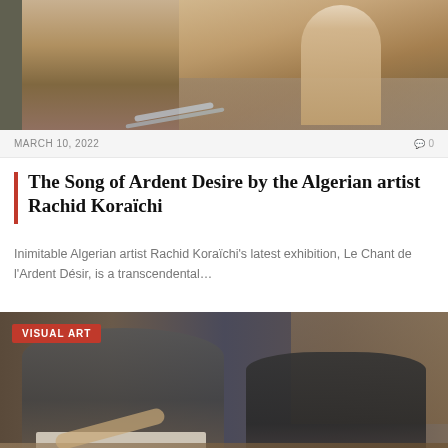[Figure (photo): Outdoor photo of a person near stone structures with water flowing, palm trees in background, desert/oasis setting]
MARCH 10, 2022
0
The Song of Ardent Desire by the Algerian artist Rachid Koraïchi
Inimitable Algerian artist Rachid Koraïchi's latest exhibition, Le Chant de l'Ardent Désir, is a transcendental…
[Figure (photo): Students drawing/writing at desks in an art classroom, with wooden drawers/storage visible in background. Badge reading VISUAL ART in top left corner.]